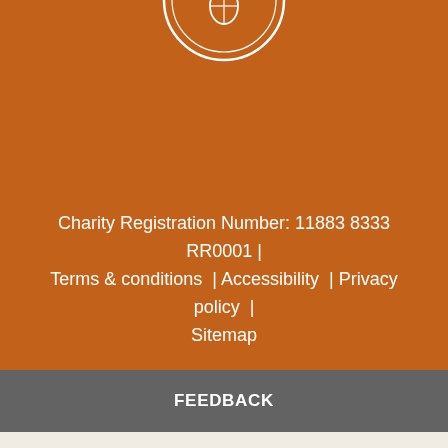[Figure (logo): Imagine Canada circular logo (partial, top of page, white outline on orange background)]
Charity Registration Number: 11883 8333 RR0001 | Terms & conditions  | Accessibility  | Privacy policy  | Sitemap
FEEDBACK